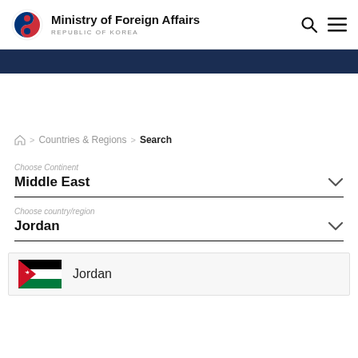Ministry of Foreign Affairs — REPUBLIC OF KOREA
[Figure (screenshot): Dark blue navigation banner]
Home > Countries & Regions > Search
Choose Continent
Middle East
Choose country/region
Jordan
Jordan